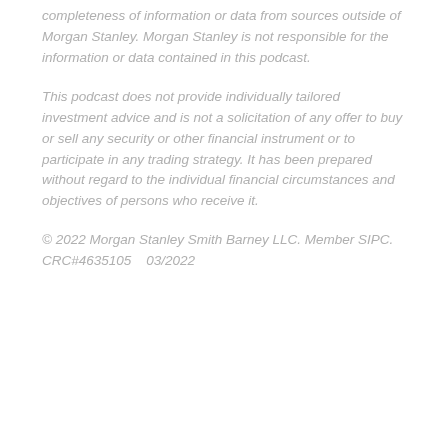completeness of information or data from sources outside of Morgan Stanley. Morgan Stanley is not responsible for the information or data contained in this podcast.
This podcast does not provide individually tailored investment advice and is not a solicitation of any offer to buy or sell any security or other financial instrument or to participate in any trading strategy. It has been prepared without regard to the individual financial circumstances and objectives of persons who receive it.
© 2022 Morgan Stanley Smith Barney LLC. Member SIPC. CRC#4635105   03/2022